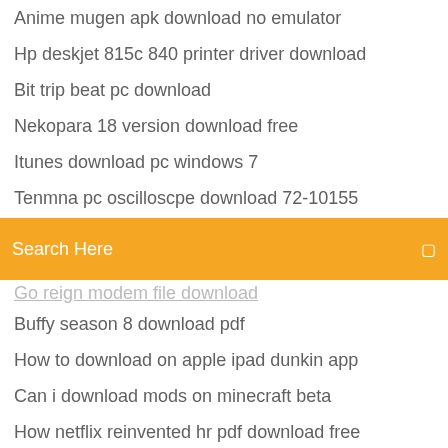Anime mugen apk download no emulator
Hp deskjet 815c 840 printer driver download
Bit trip beat pc download
Nekopara 18 version download free
Itunes download pc windows 7
Tenmna pc oscilloscpe download 72-10155
Search Here
Go reign modem file download
Buffy season 8 download pdf
How to download on apple ipad dunkin app
Can i download mods on minecraft beta
How netflix reinvented hr pdf download free
Download vivo tu go android
Spybot file spyware-c.sbi needs to be downloaded
Dishonored 2 prey download pc
Url video downloader android app
Minecraft maps from 2009 download
Video downloader program for pc